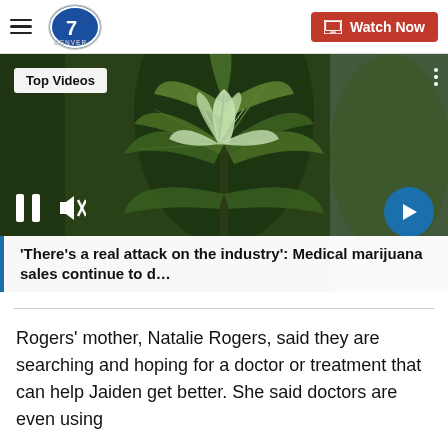Denver7 - Watch Now
[Figure (screenshot): Video player showing cannabis/marijuana plant in close-up. Overlay shows 'Top Videos' badge, pause and mute controls, next arrow button, and caption: ''There's a real attack on the industry': Medical marijuana sales continue to d…']
Rogers' mother, Natalie Rogers, said they are searching and hoping for a doctor or treatment that can help Jaiden get better. She said doctors are even using